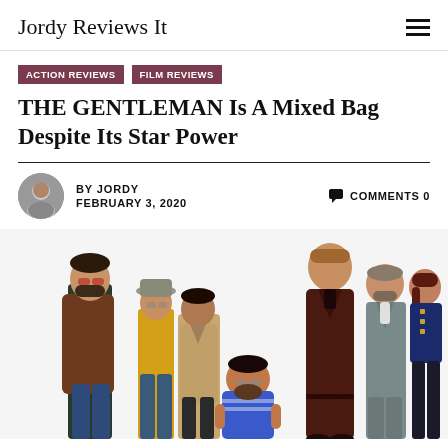Jordy Reviews It
ACTION REVIEWS  FILM REVIEWS
THE GENTLEMAN Is A Mixed Bag Despite Its Star Power
BY JORDY  FEBRUARY 3, 2020  COMMENTS 0
[Figure (photo): Promotional group photo of the cast of The Gentlemen movie, showing seven actors posed against a white background]